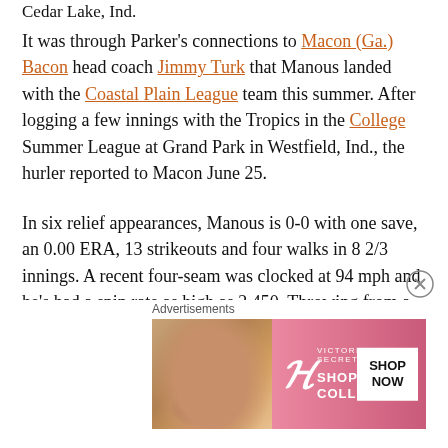Cedar Lake, Ind.
It was through Parker’s connections to Macon (Ga.) Bacon head coach Jimmy Turk that Manous landed with the Coastal Plain League team this summer. After logging a few innings with the Tropics in the College Summer League at Grand Park in Westfield, Ind., the hurler reported to Macon June 25.
In six relief appearances, Manous is 0-0 with one save, an 0.00 ERA, 13 strikeouts and four walks in 8 2/3 innings. A recent four-seam was clocked at 94 mph and he’s had a spin rate as high as 2,450. Throwing from a high arm slot, he also uses a 12-to-6 curveball and a “circle” change-up.
Like he’s done the past two seasons at Indiana, Manous has been working at the back of the bullpen.
Advertisements
[Figure (other): Victoria's Secret advertisement banner with a woman's photo and text: SHOP THE COLLECTION, SHOP NOW, VICTORIA'S SECRET logo]